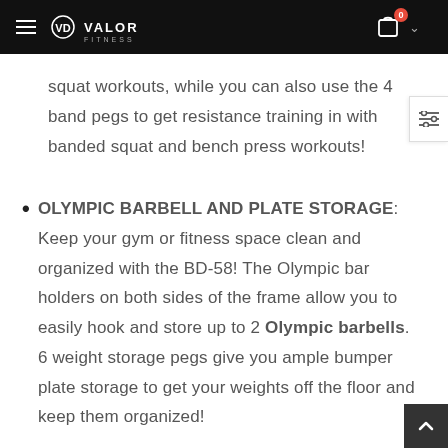Valor Fitness — Navigation header with logo and cart
squat workouts, while you can also use the 4 band pegs to get resistance training in with banded squat and bench press workouts!
OLYMPIC BARBELL AND PLATE STORAGE: Keep your gym or fitness space clean and organized with the BD-58! The Olympic bar holders on both sides of the frame allow you to easily hook and store up to 2 Olympic barbells. 6 weight storage pegs give you ample bumper plate storage to get your weights off the floor and keep them organized!